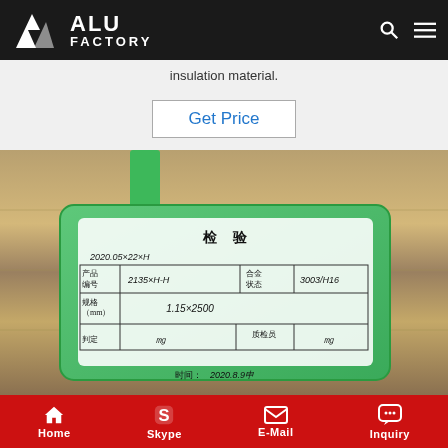ALU FACTORY
insulation material.
Get Price
[Figure (photo): Photo of a green QC inspection card attached to an aluminum coil roll. The card has a table with Chinese characters showing inspection details: product number 2135×H-H, alloy/state 3003/H16, size (mm) 1.15×2500, judgment signature, quality inspector signature, and time 2020.8.9申.]
Home  Skype  E-Mail  Inquiry